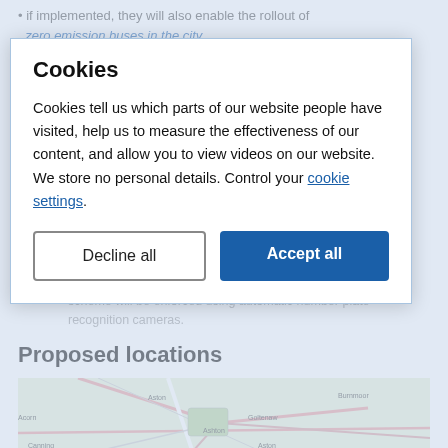if implemented, they will also enable the rollout of zero emission buses in the city.
How do...
Traffic filters reduce the number of cars entering the city centre and result in faster bus journey times. Traffic signs identify the location of where a traffic filter is operational, hours and days. Compliance is monitored automatically. The scheme will be enforced using automatic number plate recognition cameras.
Proposed locations
[Figure (map): A road map showing the area around what appears to be a city centre with surrounding roads and districts, rendered in OpenStreetMap style with green areas, roads in white/red, and labelled locations.]
Cookies
Cookies tell us which parts of our website people have visited, help us to measure the effectiveness of our content, and allow you to view videos on our website. We store no personal details. Control your cookie settings.
Decline all
Accept all